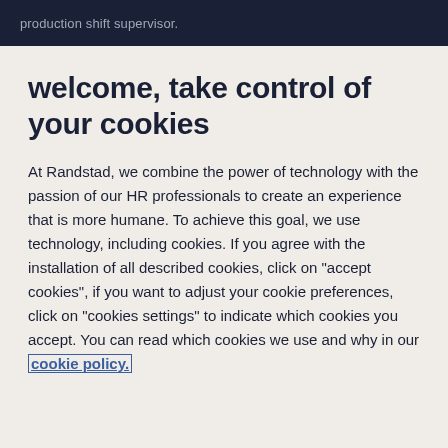production shift supervisor.
welcome, take control of your cookies
At Randstad, we combine the power of technology with the passion of our HR professionals to create an experience that is more humane. To achieve this goal, we use technology, including cookies. If you agree with the installation of all described cookies, click on "accept cookies", if you want to adjust your cookie preferences, click on "cookies settings" to indicate which cookies you accept. You can read which cookies we use and why in our cookie policy.